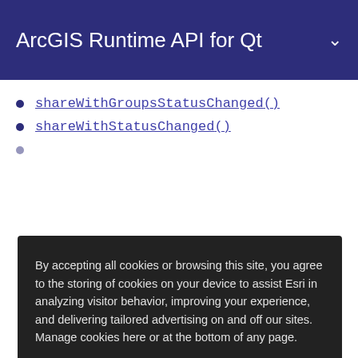ArcGIS Runtime API for Qt
shareWithGroupsStatusChanged()
shareWithStatusChanged()
By accepting all cookies or browsing this site, you agree to the storing of cookies on your device to assist Esri in analyzing visitor behavior, improving your experience, and delivering tailored advertising on and off our sites. Manage cookies here or at the bottom of any page.
Accept All Cookies
Cookies Settings
Methods